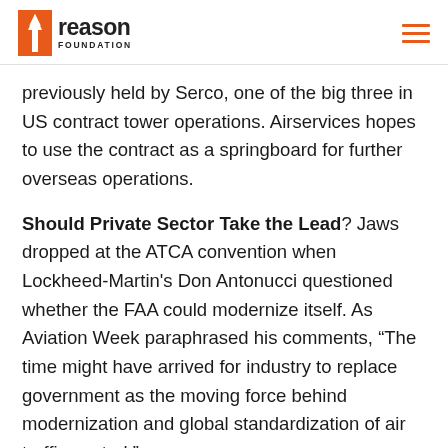Reason Foundation
previously held by Serco, one of the big three in US contract tower operations. Airservices hopes to use the contract as a springboard for further overseas operations.
Should Private Sector Take the Lead? Jaws dropped at the ATCA convention when Lockheed-Martin's Don Antonucci questioned whether the FAA could modernize itself. As Aviation Week paraphrased his comments, “The time might have arrived for industry to replace government as the moving force behind modernization and global standardization of air traffic control.”
» return to top